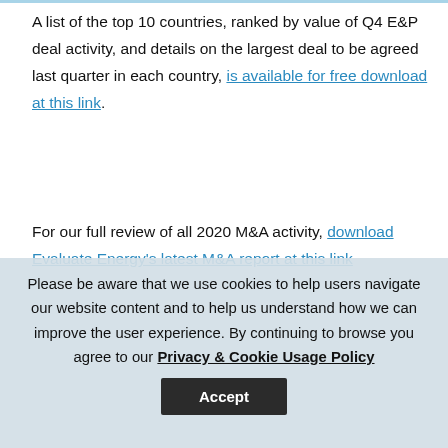A list of the top 10 countries, ranked by value of Q4 E&P deal activity, and details on the largest deal to be agreed last quarter in each country, is available for free download at this link.
For our full review of all 2020 M&A activity, download Evaluate Energy’s latest M&A report at this link
Please be aware that we use cookies to help users navigate our website content and to help us understand how we can improve the user experience. By continuing to browse you agree to our Privacy & Cookie Usage Policy